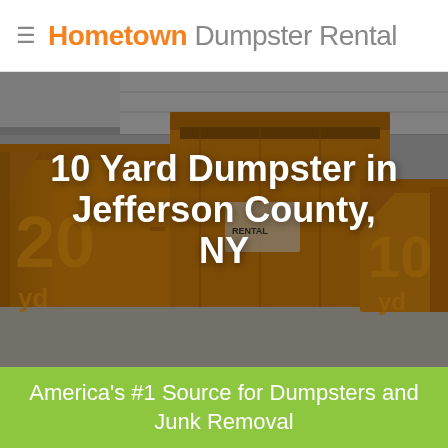Hometown Dumpster Rental
[Figure (photo): Photo of orange dumpsters (sizes 20 and 10 yard) parked in front of a garage, with a dark overlay showing the title text '10 Yard Dumpster in Jefferson County, NY']
10 Yard Dumpster in Jefferson County, NY
America's #1 Source for Dumpsters and Junk Removal